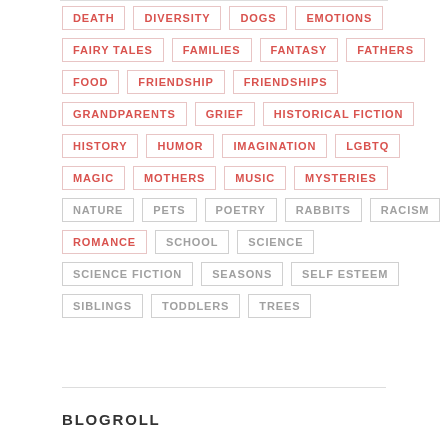DEATH, DIVERSITY, DOGS, EMOTIONS
FAIRY TALES, FAMILIES, FANTASY, FATHERS
FOOD, FRIENDSHIP, FRIENDSHIPS
GRANDPARENTS, GRIEF, HISTORICAL FICTION
HISTORY, HUMOR, IMAGINATION, LGBTQ
MAGIC, MOTHERS, MUSIC, MYSTERIES
NATURE, PETS, POETRY, RABBITS, RACISM
ROMANCE, SCHOOL, SCIENCE
SCIENCE FICTION, SEASONS, SELF ESTEEM
SIBLINGS, TODDLERS, TREES
BLOGROLL